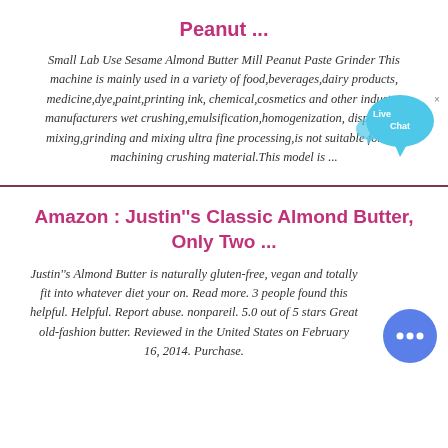Peanut ...
Small Lab Use Sesame Almond Butter Mill Peanut Paste Grinder This machine is mainly used in a variety of food,beverages,dairy products, medicine,dye,paint,printing ink, chemical,cosmetics and other industry manufacturers wet crushing,emulsification,homogenization, dispersing, mixing,grinding and mixing ultra fine processing,is not suitable for dry machining crushing material.This model is ...
[Figure (illustration): Live Chat bubble widget with blue speech bubble and text 'Live Chat']
Amazon : Justin''s Classic Almond Butter, Only Two ...
Justin''s Almond Butter is naturally gluten-free, vegan and totally fit into whatever diet your on. Read more. 3 people found this helpful. Helpful. Report abuse. nonpareil. 5.0 out of 5 stars Great old-fashion butter. Reviewed in the United States on February 16, 2014. Purchase.
[Figure (illustration): Round blue chat icon with three dots]